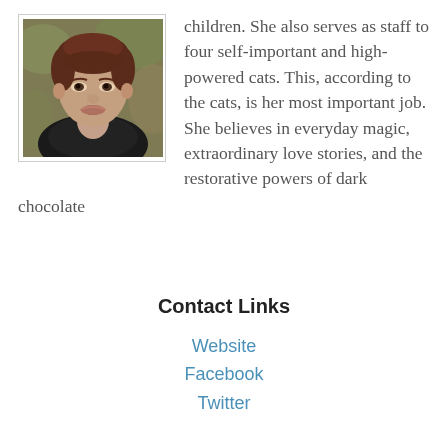[Figure (photo): Headshot photo of a woman with short reddish-brown hair wearing a black top, smiling, with a blurred outdoor background]
children. She also serves as staff to four self-important and high-powered cats. This, according to the cats, is her most important job. She believes in everyday magic, extraordinary love stories, and the restorative powers of dark chocolate
Contact Links
Website
Facebook
Twitter